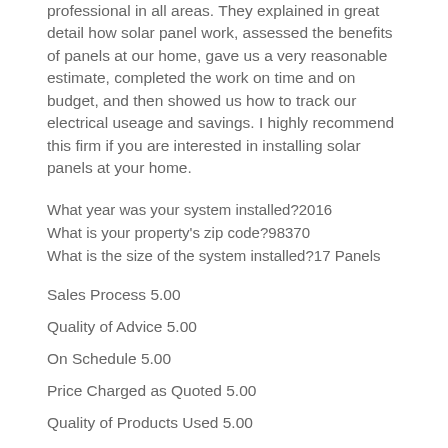professional in all areas. They explained in great detail how solar panel work, assessed the benefits of panels at our home, gave us a very reasonable estimate, completed the work on time and on budget, and then showed us how to track our electrical useage and savings. I highly recommend this firm if you are interested in installing solar panels at your home.
What year was your system installed?2016
What is your property's zip code?98370
What is the size of the system installed?17 Panels
Sales Process 5.00
Quality of Advice 5.00
On Schedule 5.00
Price Charged as Quoted 5.00
Quality of Products Used 5.00